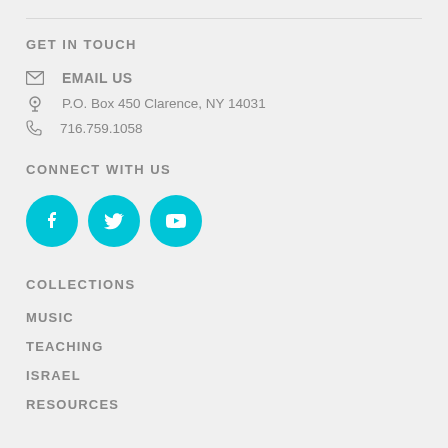GET IN TOUCH
EMAIL US
P.O. Box 450 Clarence, NY 14031
716.759.1058
CONNECT WITH US
[Figure (illustration): Three cyan circular social media icons: Facebook, Twitter, YouTube]
COLLECTIONS
MUSIC
TEACHING
ISRAEL
RESOURCES